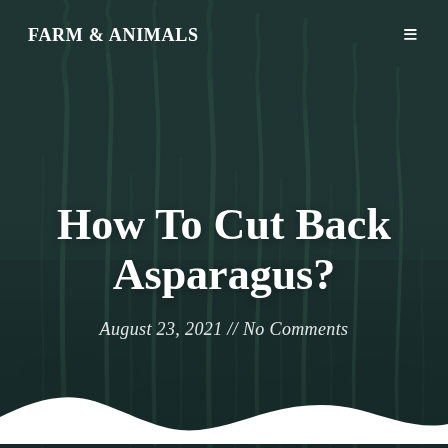FARM & ANIMALS
[Figure (photo): Close-up photograph of young asparagus spears emerging from dark soil, with a dark teal/green color overlay. Multiple thin asparagus shoots stretch upward against a blurred background.]
How To Cut Back Asparagus?
August 23, 2021 // No Comments